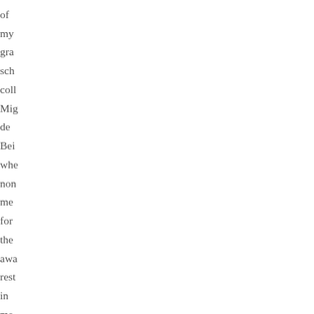of my gra sch coll Mig de Bei whe non me for the awa rest in me bec Lev Res Fell in Phi